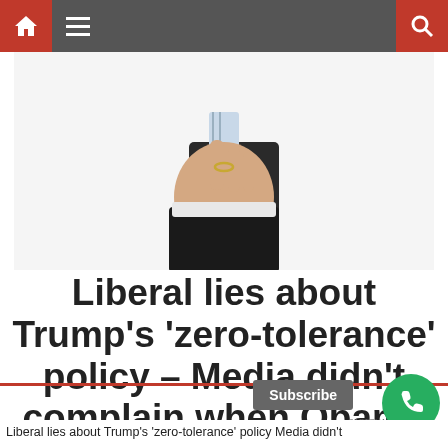Navigation bar with home, menu, and search icons
[Figure (photo): Person in a dark suit pointing finger toward camera, wearing a ring, with a light-colored tie]
Liberal lies about Trump’s ‘zero-tolerance’ policy – Media didn’t complain when Obama separated families
Liberal lies about Trump’s ‘zero-tolerance’ policy Media didn’t